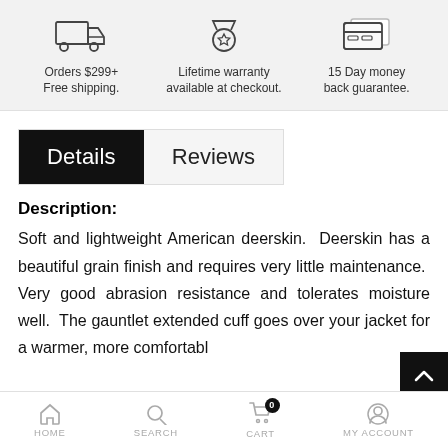[Figure (infographic): Three icons with text: a delivery truck (Orders $299+ Free shipping.), a medal/ribbon with star (Lifetime warranty available at checkout.), and a credit card (15 Day money back guarantee.)]
Details  Reviews
Description:
Soft and lightweight American deerskin. Deerskin has a beautiful grain finish and requires very little maintenance. Very good abrasion resistance and tolerates moisture well. The gauntlet extended cuff goes over your jacket for a warmer, more comfortable
HOME  SEARCH  CART  MY ACCOUNT